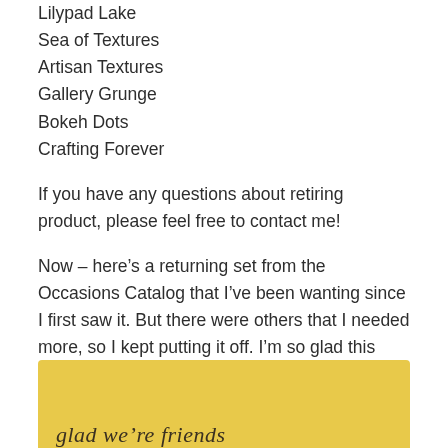Lilypad Lake
Sea of Textures
Artisan Textures
Gallery Grunge
Bokeh Dots
Crafting Forever
If you have any questions about retiring product, please feel free to contact me!
Now – here’s a returning set from the Occasions Catalog that I’ve been wanting since I first saw it. But there were others that I needed more, so I kept putting it off. I’m so glad this carried over and will be in the Stampin’ Up!® 2019-2020 Annual Catalog.
[Figure (photo): Photo of a yellow card with cursive script text reading 'glad we're friends']